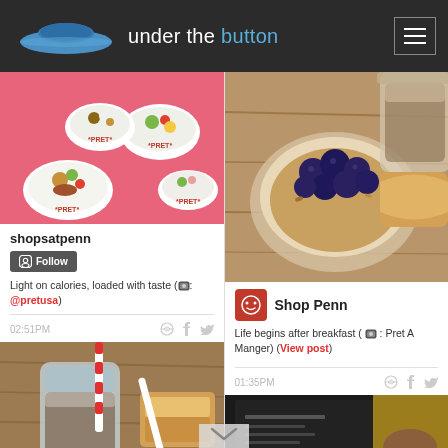under the button
[Figure (photo): Photo of Pret A Manger branded salad bowls with colorful toppings on a pink background]
shopsatpenn
Follow
Light on calories, loaded with taste (📷: @pretusa)
02:51PM
[Figure (photo): Close-up photo of granola bowl with blueberries, iced coffee and croissant/pastry on wooden surface — Pret A Manger branded]
Shop Penn
Life begins after breakfast (📷: Pret A Manger) (View post)
01:35PM
[Figure (photo): Iced drink with red and white striped straw in glass jar, and sandwich/pastry on wooden board]
[Figure (photo): Restaurant interior with dark background menu board and person partially visible]